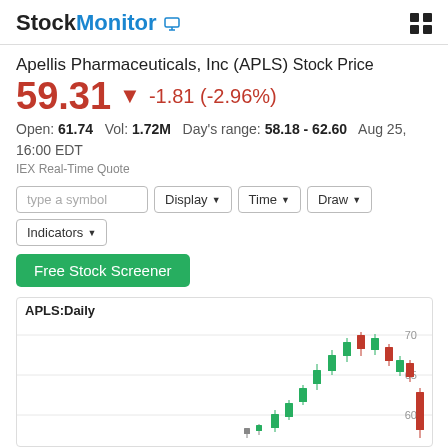StockMonitor
Apellis Pharmaceuticals, Inc (APLS) Stock Price
59.31 ▼ -1.81 (-2.96%)
Open: 61.74   Vol: 1.72M   Day's range: 58.18 - 62.60   Aug 25, 16:00 EDT
IEX Real-Time Quote
type a symbol | Display | Time | Draw | Indicators
Free Stock Screener
[Figure (continuous-plot): APLS Daily candlestick chart showing stock price movements with green (bullish) and red (bearish) candles, price range approximately 58-70, with y-axis labels 70, 65, 60]